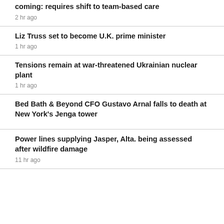coming: requires shift to team-based care
2 hr ago
Liz Truss set to become U.K. prime minister
1 hr ago
Tensions remain at war-threatened Ukrainian nuclear plant
1 hr ago
Bed Bath & Beyond CFO Gustavo Arnal falls to death at New York's Jenga tower
Power lines supplying Jasper, Alta. being assessed after wildfire damage
11 hr ago